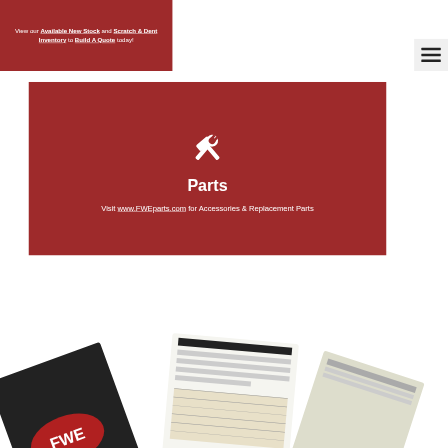View our Available New Stock and Scratch & Dent Inventory to Build A Quote today!
[Figure (illustration): Hamburger/menu icon with three horizontal dark lines on a light grey background in the top-right corner.]
[Figure (illustration): White crossed hammer and wrench icon on a dark red background.]
Parts
Visit www.FWEparts.com for Accessories & Replacement Parts
[Figure (photo): Photo of FWE branded catalogs/brochures fanned out, partially visible at the bottom of the page.]